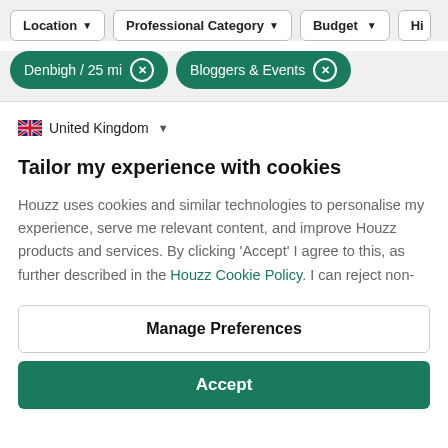[Figure (screenshot): Filter bar with Location, Professional Category, Budget, and Hi (partially visible) dropdown buttons]
[Figure (screenshot): Active filter tags: 'Denbigh / 25 mi' and 'Bloggers & Events' as green pill badges with X close buttons]
United Kingdom
Tailor my experience with cookies
Houzz uses cookies and similar technologies to personalise my experience, serve me relevant content, and improve Houzz products and services. By clicking 'Accept' I agree to this, as further described in the Houzz Cookie Policy. I can reject non-
Manage Preferences
Accept